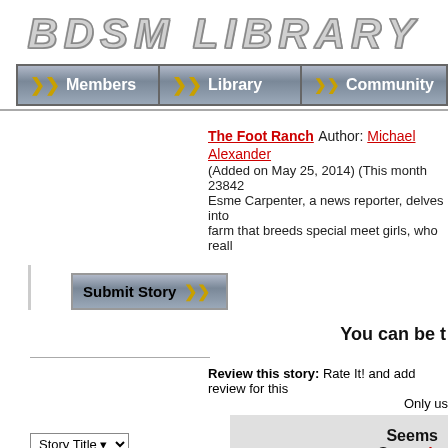BDSM LIBRARY
[Figure (screenshot): Navigation bar with three buttons: Members, Library, Community]
The Foot Ranch Author: Michael Alexander (Added on May 25, 2014) (This month 23842 Esme Carpenter, a news reporter, delves into farm that breeds special meet girls, who reall
Submit Story
You can be t
Review this story: Rate It! and add review for this Only us
Seems Go to th
[Figure (screenshot): Story Title dropdown selector and text input field]